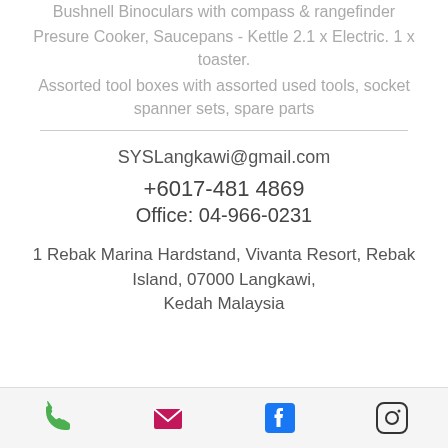Bushnell Binoculars with compass & rangefinder
Presure Cooker, Saucepans - Kettle 2.1 x Electric. 1 x toaster.
Assorted tool boxes with assorted used tools, socket spanner sets, spare parts
SYSLangkawi@gmail.com
+6017-481 4869
Office: 04-966-0231
1 Rebak Marina Hardstand, Vivanta Resort, Rebak Island, 07000 Langkawi, Kedah Malaysia